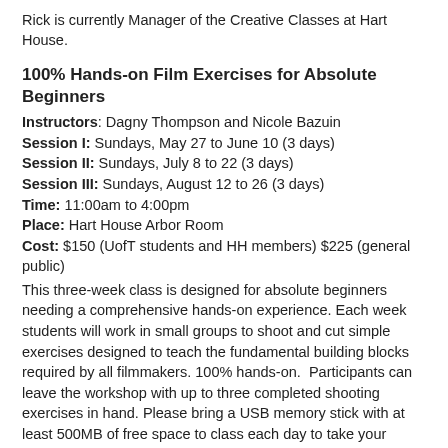Rick is currently Manager of the Creative Classes at Hart House.
100% Hands-on Film Exercises for Absolute Beginners
Instructors: Dagny Thompson and Nicole Bazuin
Session I: Sundays, May 27 to June 10 (3 days)
Session II: Sundays, July 8 to 22 (3 days)
Session III: Sundays, August 12 to 26 (3 days)
Time: 11:00am to 4:00pm
Place: Hart House Arbor Room
Cost: $150 (UofT students and HH members) $225 (general public)
This three-week class is designed for absolute beginners needing a comprehensive hands-on experience. Each week students will work in small groups to shoot and cut simple exercises designed to teach the fundamental building blocks required by all filmmakers. 100% hands-on.  Participants can leave the workshop with up to three completed shooting exercises in hand. Please bring a USB memory stick with at least 500MB of free space to class each day to take your